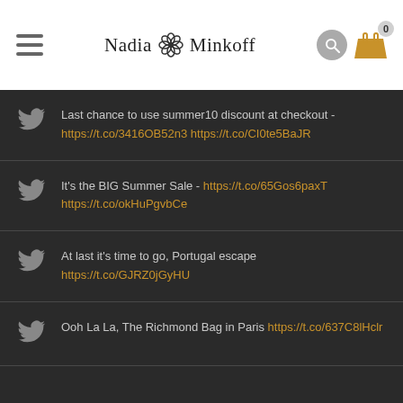Nadia Minkoff
Last chance to use summer10 discount at checkout - https://t.co/3416OB52n3 https://t.co/CI0te5BaJR
It's the BIG Summer Sale - https://t.co/65Gos6paxT https://t.co/okHuPgvbCe
At last it's time to go, Portugal escape https://t.co/GJRZ0jGyHU
Ooh La La, The Richmond Bag in Paris https://t.co/637C8lHclr